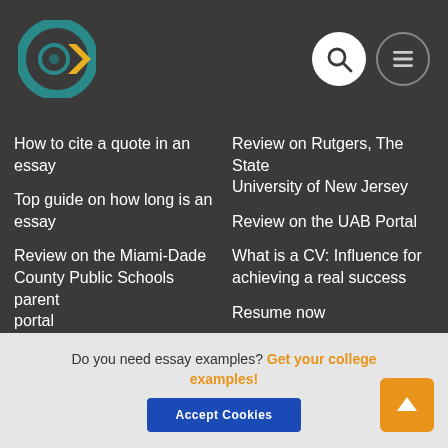[Figure (logo): Circular logo with concentric ring shapes in teal/yellow on dark background]
How to cite a quote in an essay
Top guide on how long is an essay
Review on the Miami-Dade County Public Schools parent portal
Review on Rutgers, The State University of New Jersey
Review on the UAB Portal
Review on the Florida Southern College Portal
Review on Rutgers, The State University of New Jersey
Review on the UAB Portal
What is a CV: Influence for achieving a real success
Resume now
Resume objective
Resume outline
Resume paper
Resume samples
Skills for resume
Skills to list on resume
Do you need essay examples? Get your college examples!
Accept Cookies